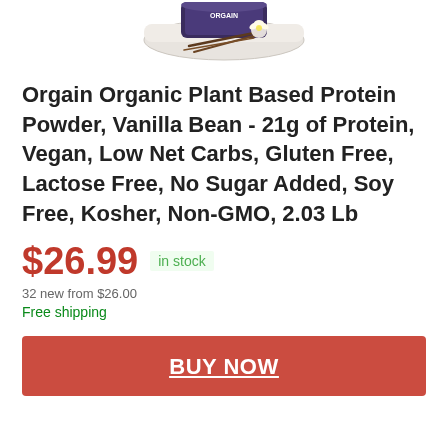[Figure (photo): Product photo of Orgain Organic Plant Based Protein Powder Vanilla Bean container with vanilla beans and flower, partially cropped at top]
Orgain Organic Plant Based Protein Powder, Vanilla Bean - 21g of Protein, Vegan, Low Net Carbs, Gluten Free, Lactose Free, No Sugar Added, Soy Free, Kosher, Non-GMO, 2.03 Lb
$26.99 in stock
32 new from $26.00
Free shipping
BUY NOW